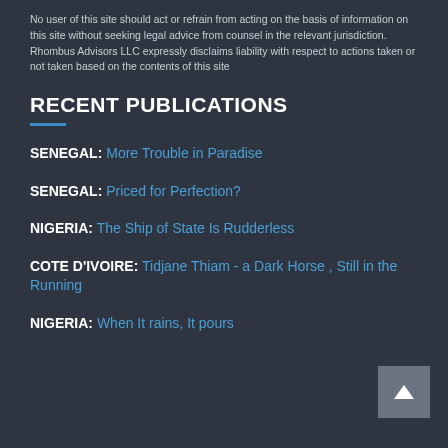No user of this site should act or refrain from acting on the basis of information on this site without seeking legal advice from counsel in the relevant jurisdiction. Rhombus Advisors LLC expressly disclaims liability with respect to actions taken or not taken based on the contents of this site
RECENT PUBLICATIONS
SENEGAL: More Trouble in Paradise
SENEGAL: Priced for Perfection?
NIGERIA: The Ship of State Is Rudderless
COTE D'IVOIRE: Tidjane Thiam - a Dark Horse , Still in the Running
NIGERIA: When It rains, It pours